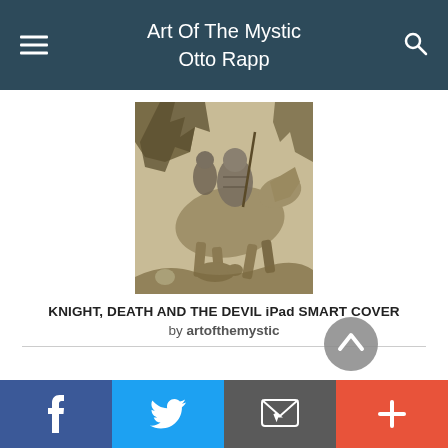Art Of The Mystic Otto Rapp
[Figure (illustration): Dürer's Knight, Death and the Devil engraving — a detailed black and white artwork showing an armored knight on horseback accompanied by allegorical figures in a forest setting]
KNIGHT, DEATH AND THE DEVIL iPad SMART COVER
by artofthemystic